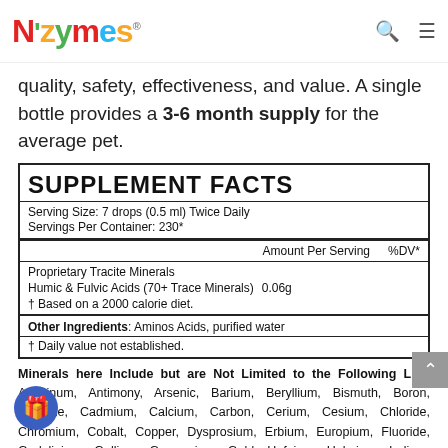Nzymes
quality, safety, effectiveness, and value. A single bottle provides a 3-6 month supply for the average pet.
| SUPPLEMENT FACTS |  |  |
| --- | --- | --- |
| Serving Size: 7 drops (0.5 ml) Twice Daily |  |  |
| Servings Per Container: 230* |  |  |
|  | Amount Per Serving | %DV* |
| Proprietary Tracite Minerals |  |  |
| Humic & Fulvic Acids (70+ Trace Minerals) | 0.06g |  |
| † Based on a 2000 calorie diet. |  |  |
| Other Ingredients: Aminos Acids, purified water |  |  |
| † Daily value not established. |  |  |
Minerals here Include but are Not Limited to the Following List; Aluminum, Antimony, Arsenic, Barium, Beryllium, Bismuth, Boron, Bromine, Cadmium, Calcium, Carbon, Cerium, Cesium, Chloride, Chromium, Cobalt, Copper, Dysprosium, Erbium, Europium, Fluoride, Gadolinium, Gallium, Germanium, Gold, Hafnium, Holmium, Indium, Iodine, Iridium, Iron, Lanthanum, Lead, Lithium, Lutetium, Magnesium, Manganese, Mercury, Molybdenum, Neodymium, Nickel, Niobium